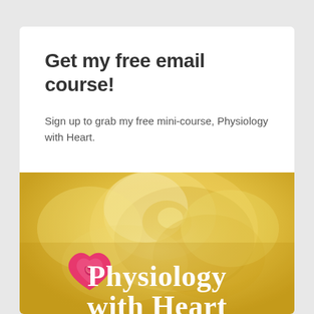Get my free email course!
Sign up to grab my free mini-course, Physiology with Heart.
[Figure (illustration): Course promotional banner image showing a yellow rose background with a pink heart icon and the text 'Physiology with Heart' in large white serif font, with subtitle 'Principles for herbalists learning physiology' partially visible at the bottom.]